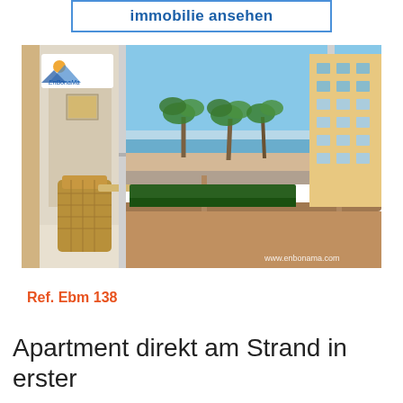immobilie ansehen
[Figure (photo): Balcony view of a beachfront apartment with wicker chair and table, palm trees, beach, ocean, and adjacent hotel building in background. Logo of EnBonaMa in upper left corner. Watermark: www.enbonama.com]
Ref. Ebm 138
Apartment direkt am Strand in erster